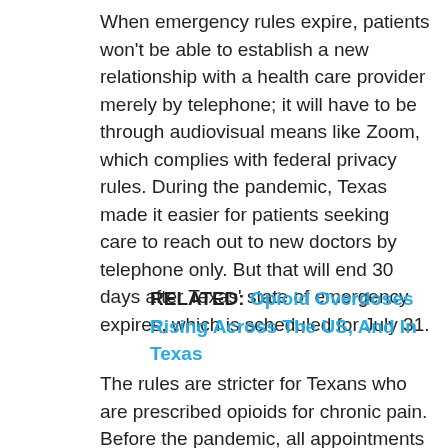When emergency rules expire, patients won't be able to establish a new relationship with a health care provider merely by telephone; it will have to be through audiovisual means like Zoom, which complies with federal privacy rules. During the pandemic, Texas made it easier for patients seeking care to reach out to new doctors by telephone only. But that will end 30 days after Texas' state of emergency expires, which is scheduled for July 31.
RELATED: Opioid Overdoses Rising Across The US, And In Texas
The rules are stricter for Texans who are prescribed opioids for chronic pain. Before the pandemic, all appointments had to be in person because opioid pain medication is a controlled substance. During the pandemic, telemedicine